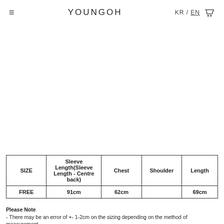YOUNGOH  KR / EN
| SIZE | Sleeve Length(Sleeve Length - Centre back) | Chest | Shoulder | Length |
| --- | --- | --- | --- | --- |
| FREE | 91cm | 62cm |  | 69cm |
Please Note
- There may be an error of +- 1-2cm on the sizing depending on the method of measurement.